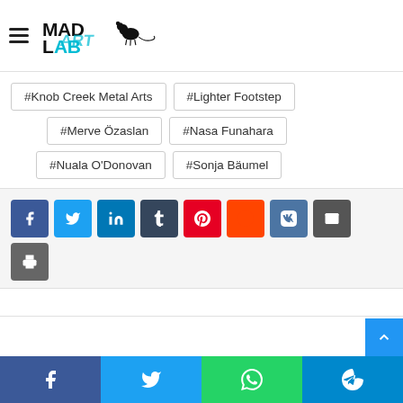Mad Art Lab logo with hamburger menu
#Knob Creek Metal Arts
#Lighter Footstep
#Merve Özaslan
#Nasa Funahara
#Nuala O'Donovan
#Sonja Bäumel
[Figure (infographic): Social share buttons: Facebook, Twitter, LinkedIn, Tumblr, Pinterest, Reddit, VK, Email, Print]
Facebook | Twitter | WhatsApp | Telegram share bar